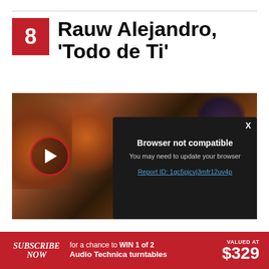8 Rauw Alejandro, 'Todo de Ti'
[Figure (screenshot): Video thumbnail showing people at a dimly lit party/club scene with warm orange lighting. A red-circled play button is visible on the lower left. A dark browser-not-compatible overlay popup appears on the right side with text: 'Browser not compatible', 'You may need to update your browser', and a report ID link.]
Browser not compatible
You may need to update your browser
Report ID: 1gc5pjcvj3mfr12uv4p
SUBSCRIBE NOW for a chance to WIN 1 of 2 Audio Technica turntables VALUED AT $329